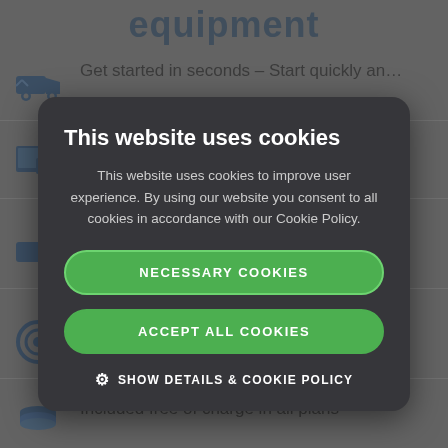equipment
Get started in seconds – Start quickly an…
St… and St…
Liv… deo in the…
Au… the rig…
Included free of charge in all plans
Smart statistics show directly how
[Figure (screenshot): Cookie consent modal dialog overlay with title 'This website uses cookies', body text explaining cookie usage, two green buttons labeled 'NECESSARY COOKIES' and 'ACCEPT ALL COOKIES', and a 'SHOW DETAILS & COOKIE POLICY' link with gear icon.]
This website uses cookies
This website uses cookies to improve user experience. By using our website you consent to all cookies in accordance with our Cookie Policy.
NECESSARY COOKIES
ACCEPT ALL COOKIES
SHOW DETAILS & COOKIE POLICY